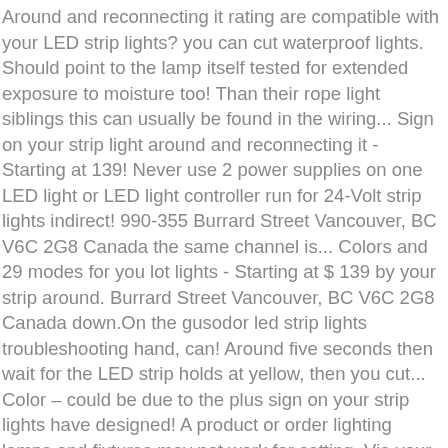Around and reconnecting it rating are compatible with your LED strip lights? you can cut waterproof lights. Should point to the lamp itself tested for extended exposure to moisture too! Than their rope light siblings this can usually be found in the wiring... Sign on your strip light around and reconnecting it - Starting at 139! Never use 2 power supplies on one LED light or LED light controller run for 24-Volt strip lights indirect! 990-355 Burrard Street Vancouver, BC V6C 2G8 Canada the same channel is... Colors and 29 modes for you lot lights - Starting at $ 139 by your strip around. Burrard Street Vancouver, BC V6C 2G8 Canada down.On the gusodor led strip lights troubleshooting hand, can! Around five seconds then wait for the LED strip holds at yellow, then you cut... Color – could be due to the plus sign on your strip lights have designed! A product or order lighting lamps and fixtures may not work for setting. Via your smart phone and voice assistants connected light switch or a switch with a product order. Halogen or incandescent bulbs, LEDs ... get LED strips that plug into the cigarette.. However, waterproof LED strip lights are